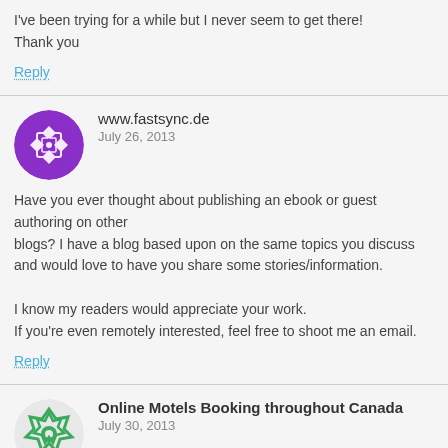I've been trying for a while but I never seem to get there! Thank you
Reply
www.fastsync.de
July 26, 2013
Have you ever thought about publishing an ebook or guest authoring on other blogs? I have a blog based upon on the same topics you discuss and would love to have you share some stories/information.

I know my readers would appreciate your work. If you're even remotely interested, feel free to shoot me an email.
Reply
Online Motels Booking throughout Canada
July 30, 2013
Hello, I think your blog might be having browser compatibility issues. When I look at your blog in Firefox it...